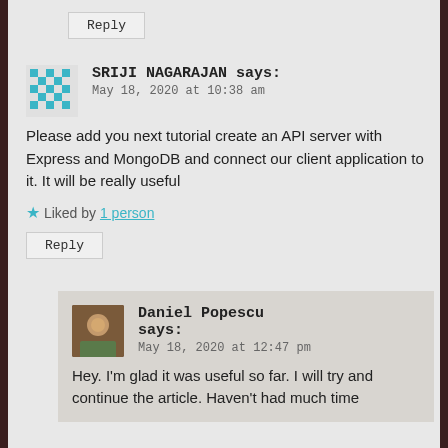Reply
SRIJI NAGARAJAN says:
May 18, 2020 at 10:38 am
Please add you next tutorial create an API server with Express and MongoDB and connect our client application to it. It will be really useful
★ Liked by 1 person
Reply
Daniel Popescu says:
May 18, 2020 at 12:47 pm
Hey. I'm glad it was useful so far. I will try and continue the article. Haven't had much time